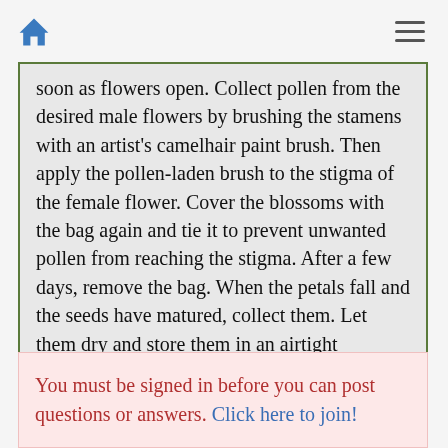[Home icon] [Hamburger menu]
soon as flowers open. Collect pollen from the desired male flowers by brushing the stamens with an artist's camelhair paint brush. Then apply the pollen-laden brush to the stigma of the female flower. Cover the blossoms with the bag again and tie it to prevent unwanted pollen from reaching the stigma. After a few days, remove the bag. When the petals fall and the seeds have matured, collect them. Let them dry and store them in an airtight container in a cool, dark place. Next spring plant yourseeds and see what develops from your cross-pollination.
You must be signed in before you can post questions or answers. Click here to join!